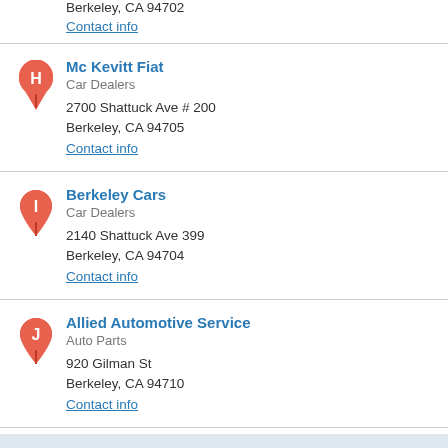Berkeley, CA 94702
Contact info
Mc Kevitt Fiat
Car Dealers
2700 Shattuck Ave # 200
Berkeley, CA 94705
Contact info
Berkeley Cars
Car Dealers
2140 Shattuck Ave 399
Berkeley, CA 94704
Contact info
Allied Automotive Service
Auto Parts
920 Gilman St
Berkeley, CA 94710
Contact info
prev 1 2 3 4 5 6 7 8